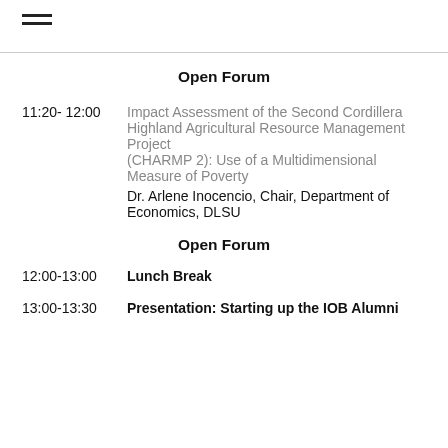≡
Open Forum
11:20- 12:00   Impact Assessment of the Second Cordillera Highland Agricultural Resource Management Project (CHARMP 2): Use of a Multidimensional Measure of Poverty   Dr. Arlene Inocencio, Chair, Department of Economics, DLSU
Open Forum
12:00-13:00   Lunch Break
13:00-13:30   Presentation: Starting up the IOB Alumni